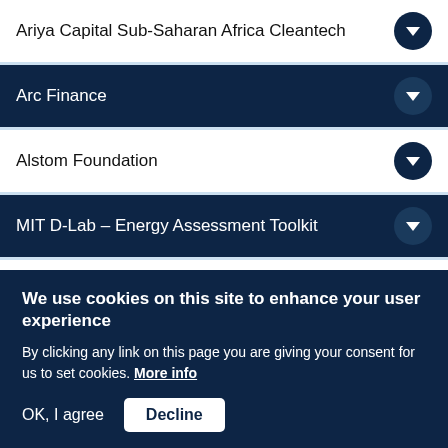Ariya Capital Sub-Saharan Africa Cleantech
Arc Finance
Alstom Foundation
MIT D-Lab – Energy Assessment Toolkit
Mercy Corp Social Venture Fund
Treehouse Investments LLC
We use cookies on this site to enhance your user experience
By clicking any link on this page you are giving your consent for us to set cookies. More info
OK, I agree
Decline